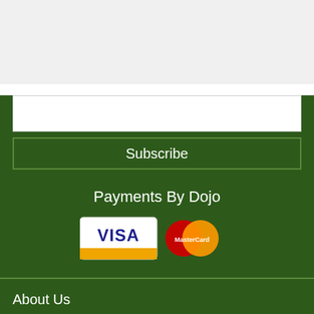[Figure (screenshot): Input field for email subscription]
Subscribe
Payments By Dojo
[Figure (logo): Visa and MasterCard payment logos]
About Us
Open an Account
Sponsors
Sustainability